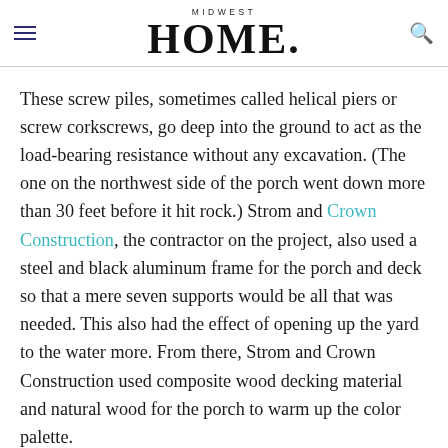MIDWEST HOME
These screw piles, sometimes called helical piers or screw corkscrews, go deep into the ground to act as the load-bearing resistance without any excavation. (The one on the northwest side of the porch went down more than 30 feet before it hit rock.) Strom and Crown Construction, the contractor on the project, also used a steel and black aluminum frame for the porch and deck so that a mere seven supports would be all that was needed. This also had the effect of opening up the yard to the water more. From there, Strom and Crown Construction used composite wood decking material and natural wood for the porch to warm up the color palette.